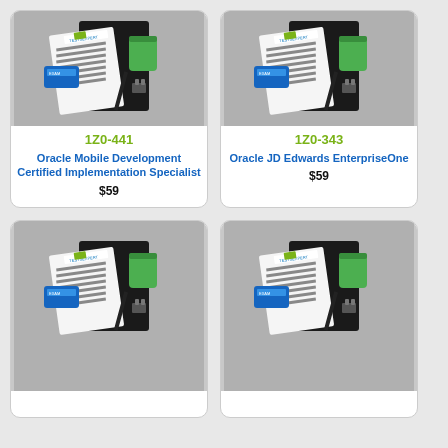[Figure (photo): TestsExpert exam bundle product photo showing notebook, papers, pen, USB drive, and green cup]
1Z0-441
Oracle Mobile Development Certified Implementation Specialist
$59
[Figure (photo): TestsExpert exam bundle product photo showing notebook, papers, pen, USB drive, and green cup]
1Z0-343
Oracle JD Edwards EnterpriseOne
$59
[Figure (photo): TestsExpert exam bundle product photo showing notebook, papers, pen, USB drive, and green cup]
[Figure (photo): TestsExpert exam bundle product photo showing notebook, papers, pen, USB drive, and green cup]